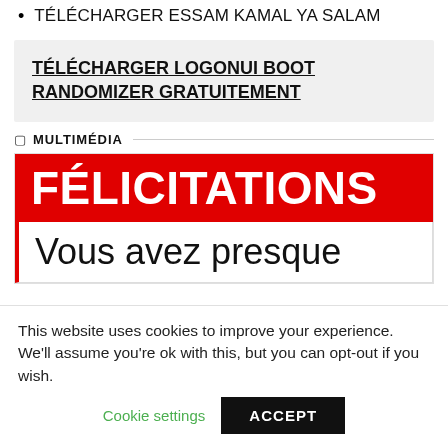TÉLÉCHARGER ESSAM KAMAL YA SALAM
TÉLÉCHARGER LOGONUI BOOT RANDOMIZER GRATUITEMENT
MULTIMÉDIA
[Figure (screenshot): A congratulations popup/banner with red background showing 'FÉLICITATIONS' in bold white text, and below in white background 'Vous avez presque' in large black text.]
This website uses cookies to improve your experience. We'll assume you're ok with this, but you can opt-out if you wish.
Cookie settings   ACCEPT